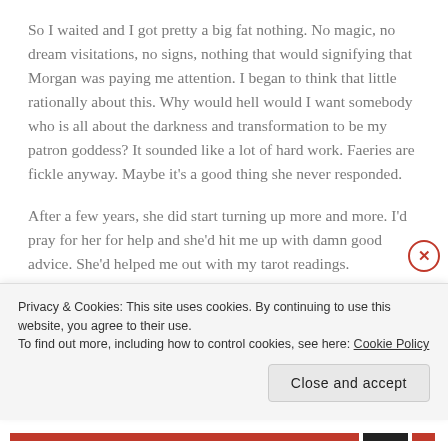So I waited and I got pretty a big fat nothing.  No magic, no dream visitations, no signs, nothing that would signifying that Morgan was paying me attention.  I began to think that little rationally about this.  Why would hell would I want somebody who is all about the darkness and transformation to be my patron goddess?  It sounded like a lot of hard work.  Faeries are fickle anyway. Maybe it's a good thing she never responded.
After a few years, she did start turning up more and more. I'd pray for her for help and she'd hit me up with damn good advice.  She'd helped me out with my tarot readings.
Privacy & Cookies: This site uses cookies. By continuing to use this website, you agree to their use.
To find out more, including how to control cookies, see here: Cookie Policy
Close and accept